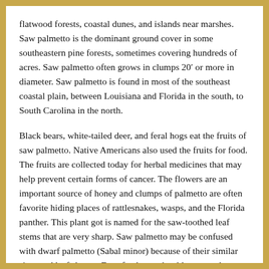flatwood forests, coastal dunes, and islands near marshes. Saw palmetto is the dominant ground cover in some southeastern pine forests, sometimes covering hundreds of acres. Saw palmetto often grows in clumps 20′ or more in diameter. Saw palmetto is found in most of the southeast coastal plain, between Louisiana and Florida in the south, to South Carolina in the north.
Black bears, white-tailed deer, and feral hogs eat the fruits of saw palmetto. Native Americans also used the fruits for food. The fruits are collected today for herbal medicines that may help prevent certain forms of cancer. The flowers are an important source of honey and clumps of palmetto are often favorite hiding places of rattlesnakes, wasps, and the Florida panther. This plant got is named for the saw-toothed leaf stems that are very sharp. Saw palmetto may be confused with dwarf palmetto (Sabal minor) because of their similar sizes and leaf shapes. Dwarf palmetto has blue-green leaves, has no spines on the leaf stems, and the circular fruits are about 1⁄2 in diameter. Content continues about Sabal. Continued...